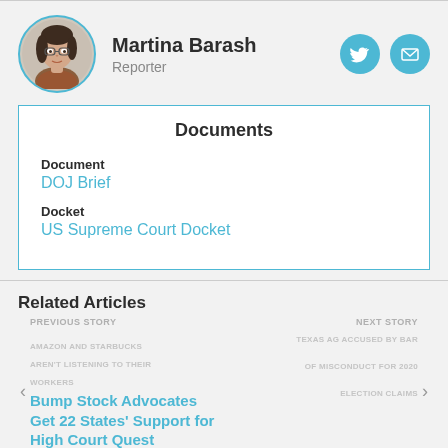[Figure (photo): Author photo of Martina Barash, a woman with dark hair and glasses]
Martina Barash
Reporter
Documents
Document
DOJ Brief
Docket
US Supreme Court Docket
Related Articles
PREVIOUS STORY
AMAZON AND STARBUCKS AREN'T LISTENING TO THEIR WORKERS
Bump Stock Advocates Get 22 States' Support for High Court Quest
April 8, 2022, 4:14 PM
NEXT STORY
TEXAS AG ACCUSED BY BAR OF MISCONDUCT FOR 2020 ELECTION CLAIMS